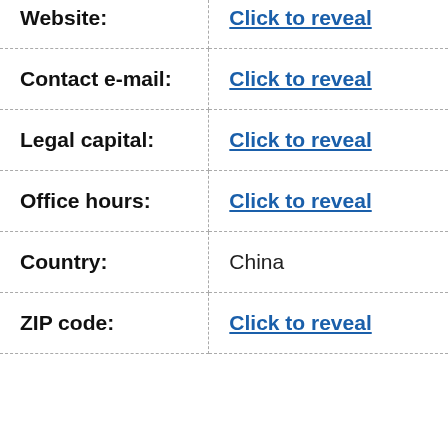| Field | Value |
| --- | --- |
| Website: | Click to reveal |
| Contact e-mail: | Click to reveal |
| Legal capital: | Click to reveal |
| Office hours: | Click to reveal |
| Country: | China |
| ZIP code: | Click to reveal |